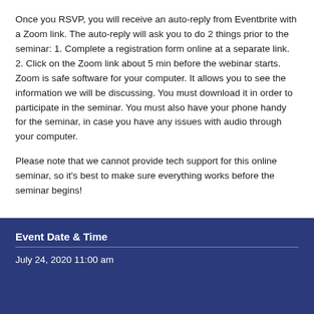Once you RSVP, you will receive an auto-reply from Eventbrite with a Zoom link. The auto-reply will ask you to do 2 things prior to the seminar: 1. Complete a registration form online at a separate link. 2. Click on the Zoom link about 5 min before the webinar starts. Zoom is safe software for your computer. It allows you to see the information we will be discussing. You must download it in order to participate in the seminar. You must also have your phone handy for the seminar, in case you have any issues with audio through your computer.
Please note that we cannot provide tech support for this online seminar, so it's best to make sure everything works before the seminar begins!
Event Date & Time
July 24, 2020 11:00 am
Event URL
https://www.eventbrite.com/e/every-musician-insured-getting-affording-insurance-during-covid-19-tickets-